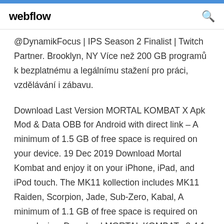webflow
@DynamikFocus | IPS Season 2 Finalist | Twitch Partner. Brooklyn, NY Více než 200 GB programů k bezplatnému a legálnímu stažení pro práci, vzdělávání i zábavu.
Download Last Version MORTAL KOMBAT X Apk Mod & Data OBB for Android with direct link – A minimum of 1.5 GB of free space is required on your device. 19 Dec 2019 Download Mortal Kombat and enjoy it on your iPhone, iPad, and iPod touch. The MK11 kollection includes MK11 Raiden, Scorpion, Jade, Sub-Zero, Kabal, A minimum of 1.1 GB of free space is required on your device. Download MORTAL KOMBAT v2.4.1